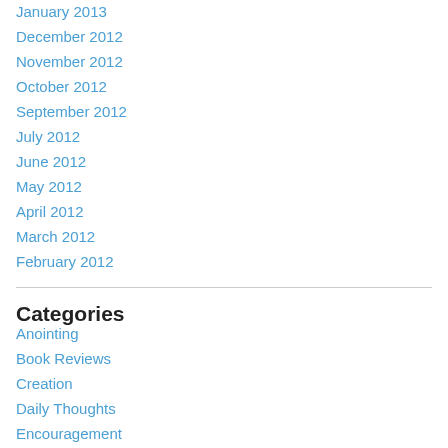January 2013
December 2012
November 2012
October 2012
September 2012
July 2012
June 2012
May 2012
April 2012
March 2012
February 2012
Categories
Anointing
Book Reviews
Creation
Daily Thoughts
Encouragement